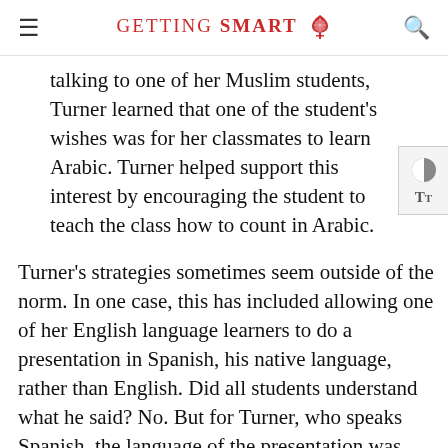GETTING SMART
talking to one of her Muslim students, Turner learned that one of the student's wishes was for her classmates to learn Arabic. Turner helped support this interest by encouraging the student to teach the class how to count in Arabic.
Turner's strategies sometimes seem outside of the norm. In one case, this has included allowing one of her English language learners to do a presentation in Spanish, his native language, rather than English. Did all students understand what he said? No. But for Turner, who speaks Spanish, the language of the presentation was secondary to what she was